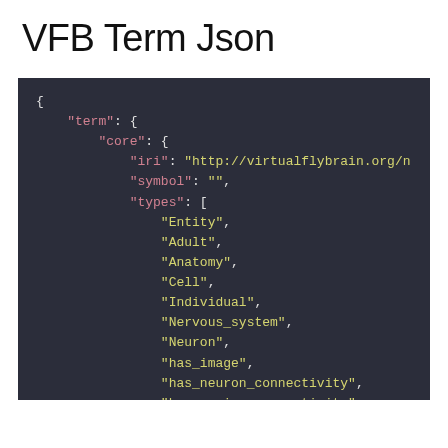VFB Term Json
[Figure (screenshot): Dark-themed code editor screenshot showing a JSON structure with keys: term, core, iri (http://virtualflybrain.org/n...), symbol (empty string), types array containing Entity, Adult, Anatomy, Cell, Individual, Nervous_system, Neuron, has_image, has_neuron_connectivity, has_region_connectivity, and short_form: VFB_irchk81e]